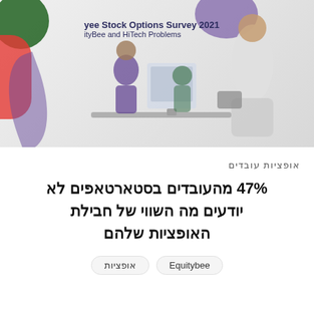[Figure (illustration): Cover image of Employee Stock Options Survey 2021 by EquityBee and HiTech Problems, showing illustrated people working at desk with decorative plant and color blobs]
אופציות עובדים
47% מהעובדים בסטארטאפים לא יודעים מה השווי של חבילת האופציות שלהם
אופציות
Equitybee